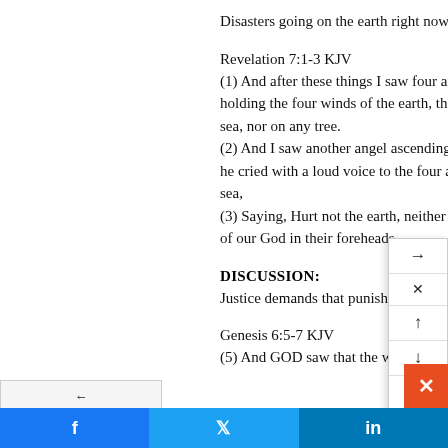Disasters going on the earth right now.
Revelation 7:1-3 KJV
(1) And after these things I saw four angels standing on the four corners of the earth, holding the four winds of the earth, that the wind should not blow on the earth, nor on the sea, nor on any tree.
(2) And I saw another angel ascending from the east, having the seal of the living God: and he cried with a loud voice to the four angels, to whom it was given to hurt the earth and the sea,
(3) Saying, Hurt not the earth, neither the sea, nor the trees, till we have sealed the servants of our God in their foreheads.
DISCUSSION:
Justice demands that punishment is delivered, e...
Genesis 6:5-7 KJV
(5) And GOD saw that the wickedness of man w...